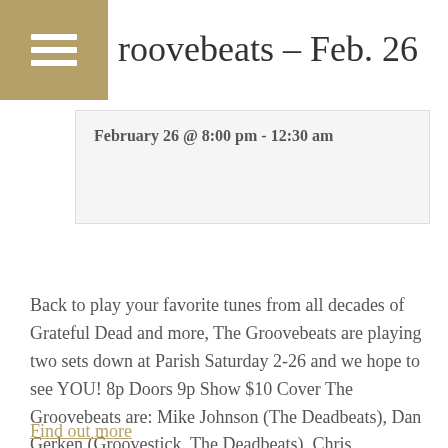Groovebeats – Feb. 26
February 26 @ 8:00 pm - 12:30 am
Back to play your favorite tunes from all decades of Grateful Dead and more, The Groovebeats are playing two sets down at Parish Saturday 2-26 and we hope to see YOU! 8p Doors 9p Show $10 Cover The Groovebeats are: Mike Johnson (The Deadbeats), Dan Gerken (Groovestick, The Deadbeats), Chris Carballeira (Groovestick, Deadbeats alumni) and Dave Berger (Groovestick)
Find out more